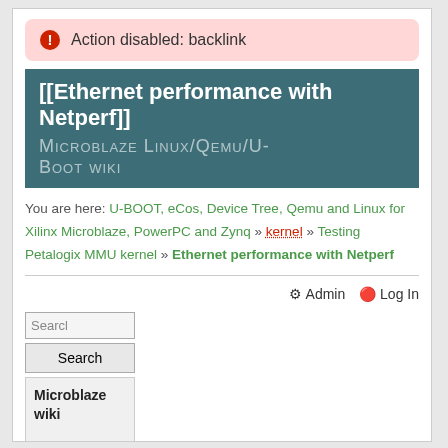Action disabled: backlink
[[Ethernet performance with Netperf]]
Microblaze Linux/Qemu/U-Boot wiki
You are here: U-BOOT, eCos, Device Tree, Qemu and Linux for Xilinx Microblaze, PowerPC and Zynq » kernel » Testing Petalogix MMU kernel » Ethernet performance with Netperf
Admin  Log In